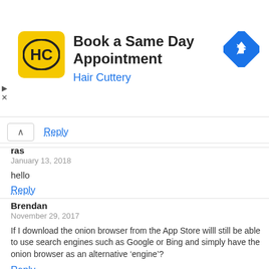[Figure (logo): Hair Cuttery advertisement banner with HC logo, text 'Book a Same Day Appointment' and 'Hair Cuttery', and a blue navigation/directions icon on the right.]
Reply
ras
January 13, 2018
hello
Reply
Brendan
November 29, 2017
If I download the onion browser from the App Store willl still be able to use search engines such as Google or Bing and simply have the onion browser as an alternative ‘engine’?
Reply